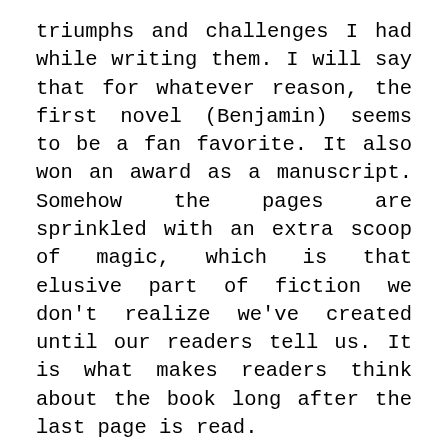triumphs and challenges I had while writing them. I will say that for whatever reason, the first novel (Benjamin) seems to be a fan favorite. It also won an award as a manuscript. Somehow the pages are sprinkled with an extra scoop of magic, which is that elusive part of fiction we don't realize we've created until our readers tell us. It is what makes readers think about the book long after the last page is read.
My main motivation for writing is how we as people view ourselves, and our world; how we solve personal challenges; how we grow as individuals. My settings are inspired by places I have lived or traveled to, because that's what moves me emotionally and spiritually. I firmly believe that reading should engage all of your senses and knowledge about the world to date, and then it should mess with that. A good book